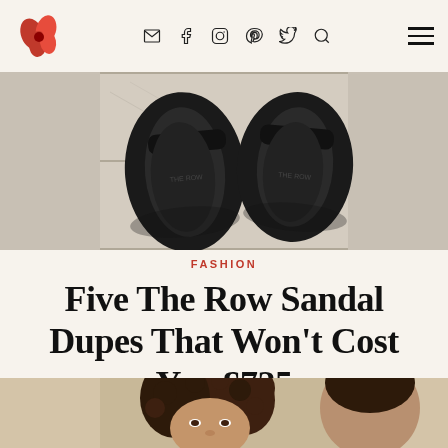FASHION blog header with logo, social icons (email, facebook, instagram, pinterest, twitter, search), and hamburger menu
[Figure (photo): Overhead view of black slide sandals on a marble/stone floor surface]
FASHION
Five The Row Sandal Dupes That Won't Cost You £725
[Figure (photo): Portrait of a child with curly brown hair looking at camera, partially visible adult figure to the right]